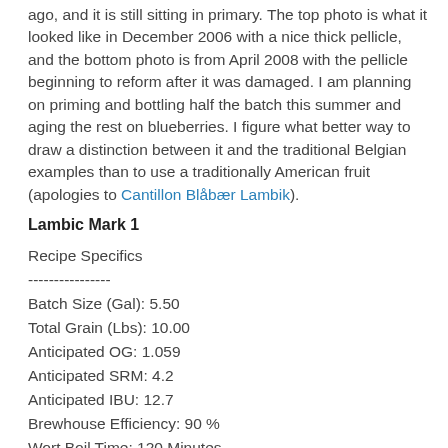ago, and it is still sitting in primary. The top photo is what it looked like in December 2006 with a nice thick pellicle, and the bottom photo is from April 2008 with the pellicle beginning to reform after it was damaged. I am planning on priming and bottling half the batch this summer and aging the rest on blueberries. I figure what better way to draw a distinction between it and the traditional Belgian examples than to use a traditionally American fruit (apologies to Cantillon Blåbær Lambik).
Lambic Mark 1
Recipe Specifics
----------------
Batch Size (Gal): 5.50
Total Grain (Lbs): 10.00
Anticipated OG: 1.059
Anticipated SRM: 4.2
Anticipated IBU: 12.7
Brewhouse Efficiency: 90 %
Wort Boil Time: 120 Minutes